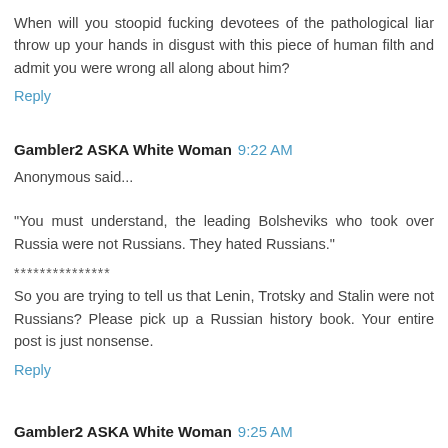When will you stoopid fucking devotees of the pathological liar throw up your hands in disgust with this piece of human filth and admit you were wrong all along about him?
Reply
Gambler2 ASKA White Woman  9:22 AM
Anonymous said...
"You must understand, the leading Bolsheviks who took over Russia were not Russians. They hated Russians."
***************
So you are trying to tell us that Lenin, Trotsky and Stalin were not Russians? Please pick up a Russian history book. Your entire post is just nonsense.
Reply
Gambler2 ASKA White Woman  9:25 AM